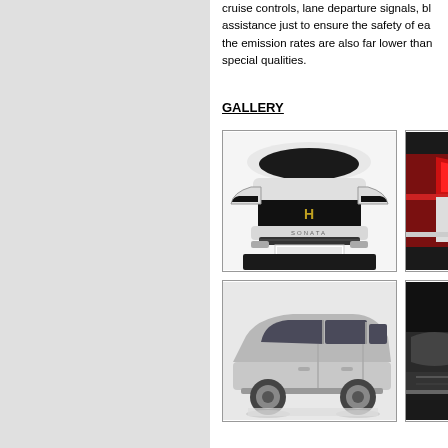cruise controls, lane departure signals, blind spot assistance just to ensure the safety of each driver; the emission rates are also far lower than normal special qualities.
GALLERY
[Figure (photo): Front view of a white Hyundai Sonata sedan with license plate area blurred]
[Figure (photo): Partial rear/side view of a dark red/maroon Hyundai vehicle showing tail light area]
[Figure (photo): Side profile view of a silver/grey Hyundai Sonata sedan showing doors and windows]
[Figure (photo): Partial view of a black Hyundai vehicle interior/exterior detail]